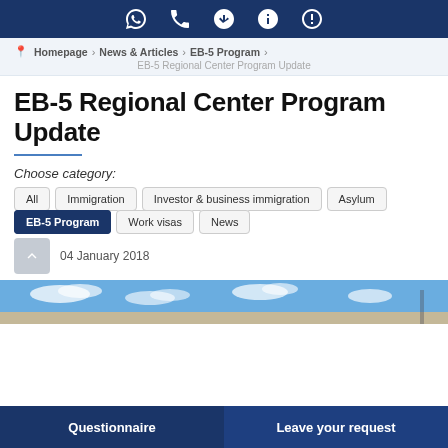[Icon bar: WhatsApp, Phone, Arrow, Info, Skype icons]
Homepage > News & Articles > EB-5 Program > EB-5 Regional Center Program Update
EB-5 Regional Center Program Update
Choose category:
All
Immigration
Investor & business immigration
Asylum
EB-5 Program
Work visas
News
04 January 2018
[Figure (photo): Sky with clouds, partial article image]
Questionnaire   Leave your request